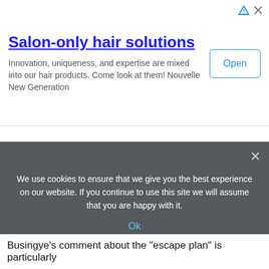Salon-only hair solutions
Innovation, uniqueness, and expertise are mixed into our hair products. Come look at them! Nouvelle New Generation
[Figure (screenshot): Open button for ad banner]
[Figure (screenshot): Collapse/chevron up tab button]
We use cookies to ensure that we give you the best experience on our website. If you continue to use this site we will assume that you are happy with it.
Ok
Busingye's comment about the "escape plan" is particularly